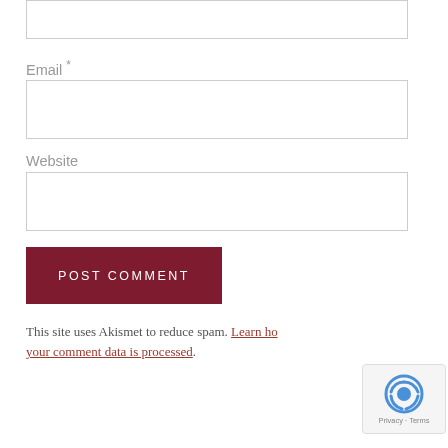(input box at top — comment field continuation)
Email *
Website
POST COMMENT
This site uses Akismet to reduce spam. Learn how your comment data is processed.